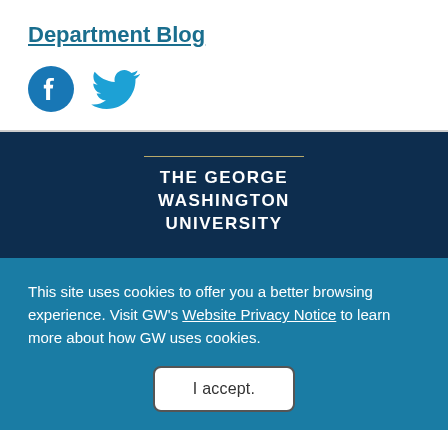Department Blog
[Figure (illustration): Facebook and Twitter social media icons in teal/blue color]
[Figure (logo): The George Washington University logo — horizontal gold rule above white text reading THE GEORGE WASHINGTON UNIVERSITY on dark navy background]
This site uses cookies to offer you a better browsing experience. Visit GW's Website Privacy Notice to learn more about how GW uses cookies.
I accept.